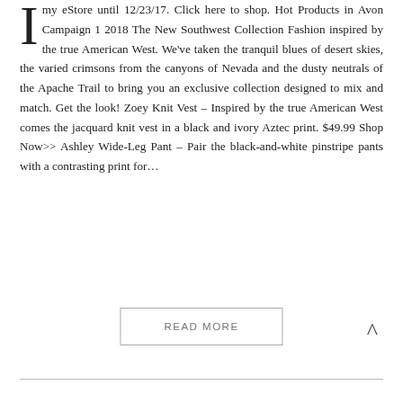my eStore until 12/23/17. Click here to shop. Hot Products in Avon Campaign 1 2018 The New Southwest Collection Fashion inspired by the true American West. We've taken the tranquil blues of desert skies, the varied crimsons from the canyons of Nevada and the dusty neutrals of the Apache Trail to bring you an exclusive collection designed to mix and match. Get the look! Zoey Knit Vest – Inspired by the true American West comes the jacquard knit vest in a black and ivory Aztec print. $49.99 Shop Now>> Ashley Wide-Leg Pant – Pair the black-and-white pinstripe pants with a contrasting print for...
READ MORE